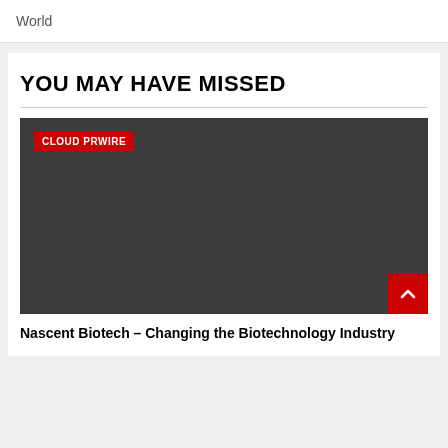World
YOU MAY HAVE MISSED
[Figure (photo): Dark gray placeholder image with a red 'CLOUD PRWIRE' badge tag in the upper left corner and a red scroll-to-top button with chevron arrow in the lower right corner.]
Nascent Biotech – Changing the Biotechnology Industry